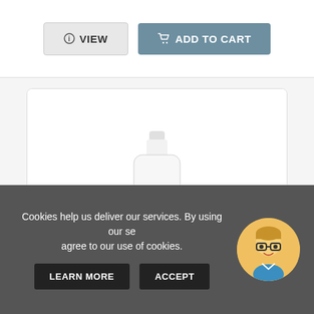[Figure (screenshot): View button and Add to Cart button at top of e-commerce product listing page]
[Figure (photo): White bottle product image for Flaxseed (Linseed) oil with red label text]
Mystic Moments | Flaxseed (Linseed) Carr...
Cookies help us deliver our services. By using our se... agree to our use of cookies.
LEARN MORE
ACCEPT